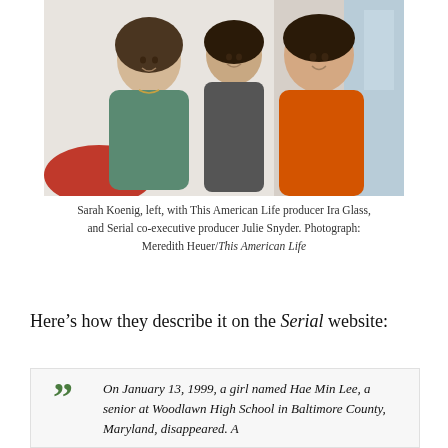[Figure (photo): Three people posing together indoors. A woman in a teal/green top on the left, a man in the center background, and a woman in an orange sleeveless top on the right. Bright indoor setting with windows.]
Sarah Koenig, left, with This American Life producer Ira Glass, and Serial co-executive producer Julie Snyder. Photograph: Meredith Heuer/This American Life
Here’s how they describe it on the Serial website:
On January 13, 1999, a girl named Hae Min Lee, a senior at Woodlawn High School in Baltimore County, Maryland, disappeared. A